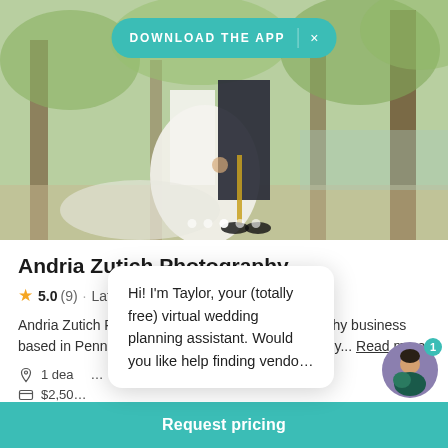[Figure (photo): Wedding couple standing among trees; person in white dress and person in dark military uniform with gold stripe on trousers]
DOWNLOAD THE APP  ×
Andria Zutich Photography
★ 5.0 (9) · Latrobe, PA
Andria Zutich Photography is a wedding photography business based in Pennsylvania and available for travel. They... Read more
1 deal
$2,50
Hi! I'm Taylor, your (totally free) virtual wedding planning assistant. Would you like help finding vendo...
Request pricing